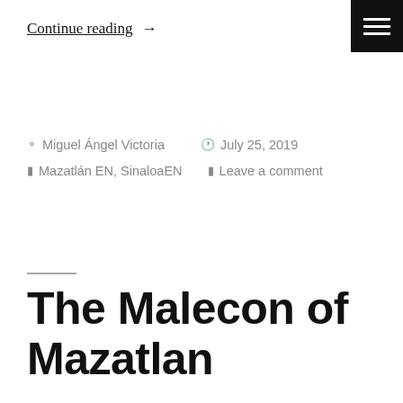Continue reading →
Miguel Ángel Victoria   July 25, 2019   Mazatlán EN, SinaloaEN   Leave a comment
The Malecon of Mazatlan